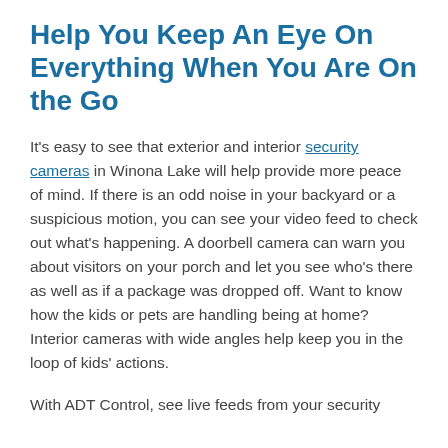Help You Keep An Eye On Everything When You Are On the Go
It’s easy to see that exterior and interior security cameras in Winona Lake will help provide more peace of mind. If there is an odd noise in your backyard or a suspicious motion, you can see your video feed to check out what’s happening. A doorbell camera can warn you about visitors on your porch and let you see who’s there as well as if a package was dropped off. Want to know how the kids or pets are handling being at home? Interior cameras with wide angles help keep you in the loop of kids’ actions.
With ADT Control, see live feeds from your security